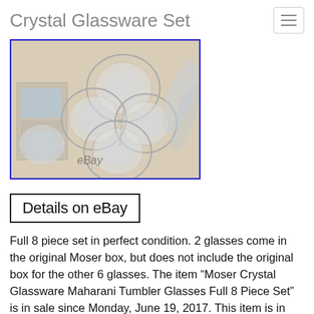Crystal Glassware Set
[Figure (photo): Photo of Moser Crystal Glassware Maharani Tumbler Glasses set, showing crystal glasses laid out, some in original Moser box, with eBay watermark. Image has blue border.]
Details on eBay
Full 8 piece set in perfect condition. 2 glasses come in the original Moser box, but does not include the original box for the other 6 glasses. The item “Moser Crystal Glassware Maharani Tumbler Glasses Full 8 Piece Set” is in sale since Monday, June 19, 2017. This item is in the category “Pottery & Glass\Glass\Art